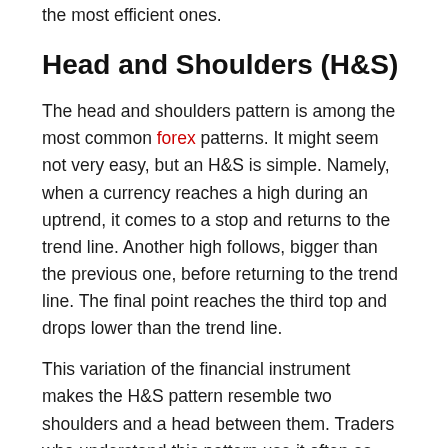the most efficient ones.
Head and Shoulders (H&S)
The head and shoulders pattern is among the most common forex patterns. It might seem not very easy, but an H&S is simple. Namely, when a currency reaches a high during an uptrend, it comes to a stop and returns to the trend line. Another high follows, bigger than the previous one, before returning to the trend line. The final point reaches the third top and drops lower than the trend line.
This variation of the financial instrument makes the H&S pattern resemble two shoulders and a head between them. Traders who understand this pattern use it often as they can isolate several hypothetically great forex trading opportunities.